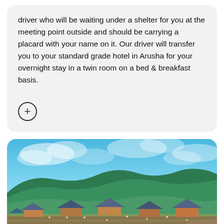driver who will be waiting under a shelter for you at the meeting point outside and should be carrying a placard with your name on it. Our driver will transfer you to your standard grade hotel in Arusha for your overnight stay in a twin room on a bed & breakfast basis.
[Figure (photo): Aerial/elevated view of a safari lodge or resort in Tanzania, showing round thatched-roof huts/bungalows set on terraced hillside gardens, with a kidney-shaped swimming pool in the foreground, lush green hills in the background, and a dramatic blue cloudy sky.]